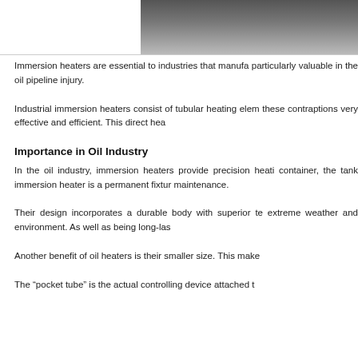[Figure (photo): Top portion of an immersion heater device, showing dark metallic body against a light background]
Immersion heaters are essential to industries that manufa... particularly valuable in the oil pipeline injury.
Industrial immersion heaters consist of tubular heating elem... these contraptions very effective and efficient. This direct hea...
Importance in Oil Industry
In the oil industry, immersion heaters provide precision heati... container, the tank immersion heater is a permanent fixtur... maintenance.
Their design incorporates a durable body with superior te... extreme weather and environment. As well as being long-las...
Another benefit of oil heaters is their smaller size. This make...
The “pocket tube” is the actual controlling device attached t...